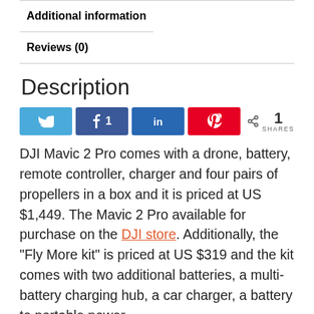Additional information
Reviews (0)
Description
[Figure (infographic): Social sharing buttons: Twitter, Facebook (1 share), LinkedIn, Pinterest, and a share count showing 1 SHARES]
DJI Mavic 2 Pro comes with a drone, battery, remote controller, charger and four pairs of propellers in a box and it is priced at US $1,449. The Mavic 2 Pro available for purchase on the DJI store. Additionally, the “Fly More kit” is priced at US $319 and the kit comes with two additional batteries, a multi-battery charging hub, a car charger, a battery to portable power